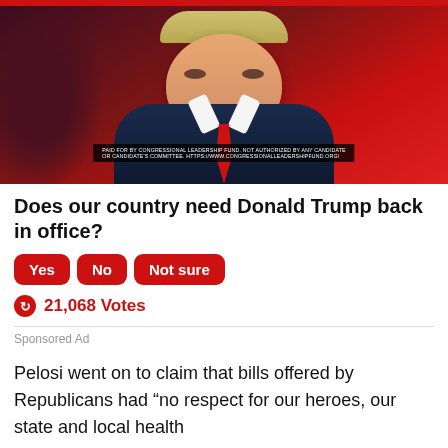[Figure (photo): Photo of Donald Trump in a dark navy suit with red tie, against a red background. A disclaimer bar reads: PAID FOR BY CONGRESSIONAL LEADERSHIP FUND. NOT AUTHORIZED BY ANY CANDIDATE OR CANDIDATE'S COMMITTEE. HTTPS://WWW.CONGRESSIONALLEADERSHIPFUND.ORG/]
Does our country need Donald Trump back in office?
Yes  No  Not sure
21,068 Votes
Sponsored Ad
Pelosi went on to claim that bills offered by Republicans had “no respect for our heroes, our state and local health